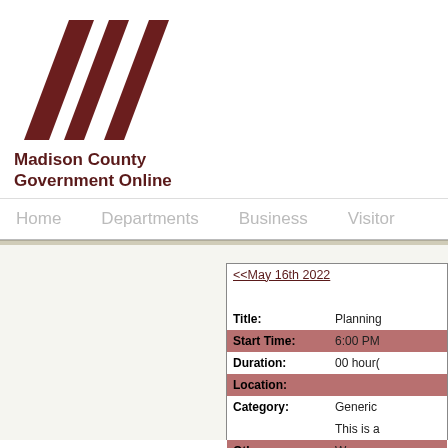[Figure (logo): Madison County Government Online logo with three diagonal dark red parallelogram shapes forming a stylized M]
Madison County Government Online
Home   Departments   Business   Visitor
| <<May 16th 2022 |  |
| Title: | Planning |
| Start Time: | 6:00 PM |
| Duration: | 00 hour( |
| Location: |  |
| Category: | Generic |
|  | This is a |
| Other Information: | We mee |